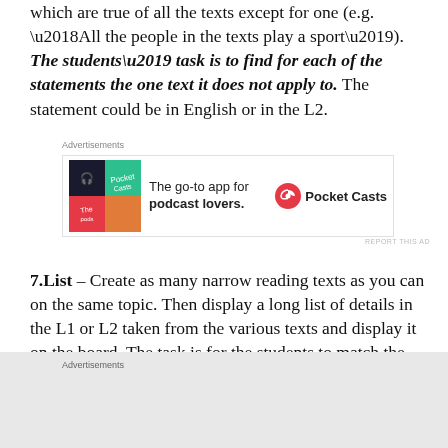which are true of all the texts except for one (e.g. ‘All the people in the texts play a sport’). The students’ task is to find for each of the statements the one text it does not apply to. The statement could be in English or in the L2.
[Figure (other): Pocket Casts advertisement: colorful app icon with 'The go-to app for podcast lovers.' text and Pocket Casts logo]
7.List – Create as many narrow reading texts as you can on the same topic. Then display a long list of details in the L1 or L2 taken from the various texts and display it on the board. The task is for the students to match the
Advertisements